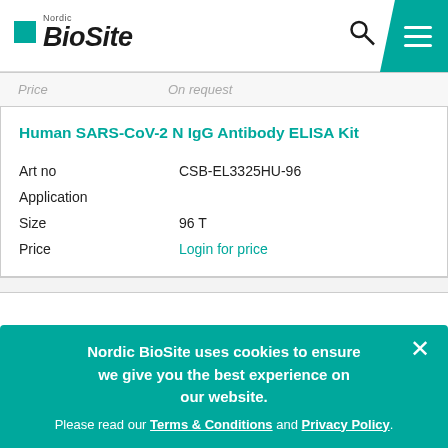Nordic BioSite
| Field | Value |
| --- | --- |
| Price | On request |
| Human SARS-CoV-2 N IgG Antibody ELISA Kit |  |
| Art no | CSB-EL3325HU-96 |
| Application |  |
| Size | 96 T |
| Price | Login for price |
Nordic BioSite uses cookies to ensure we give you the best experience on our website. Please read our Terms & Conditions and Privacy Policy.